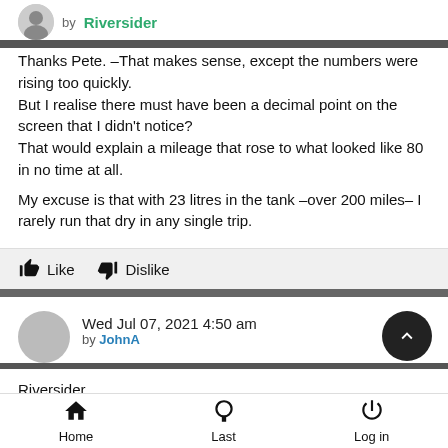by Riversider
Thanks Pete. –That makes sense, except the numbers were rising too quickly.
But I realise there must have been a decimal point on the screen that I didn't notice?
That would explain a mileage that rose to what looked like 80 in no time at all.

My excuse is that with 23 litres in the tank –over 200 miles– I rarely run that dry in any single trip.
Like   Dislike
Wed Jul 07, 2021 4:50 am
by JohnA
Riversider,
Yes the counter includes decimal points. I ran mine that low a
Home   Last   Log in